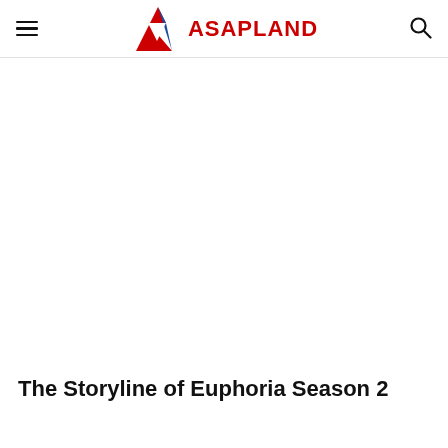ASAPLAND
The Storyline of Euphoria Season 2